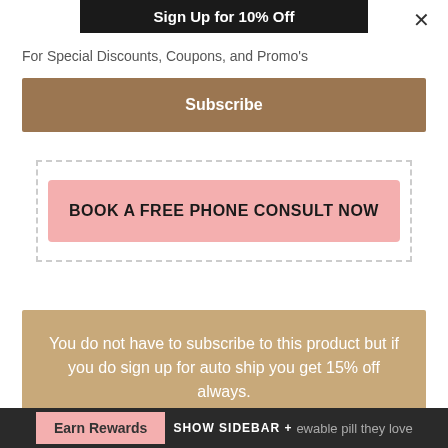Sign Up for 10% Off
×
For Special Discounts, Coupons, and Promo's
Subscribe
BOOK A FREE PHONE CONSULT NOW
You do not have to subscribe to this product but if you do sign up for auto ship you get 15% off always.
Plus no contract – you can cancel at any time.
Earn Rewards
SHOW SIDEBAR +
An... cs... ewable pill they love